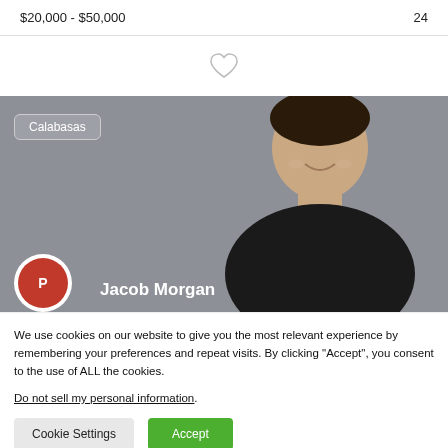$20,000 - $50,000
24
[Figure (photo): Heart/favorite icon (outline heart shape)]
[Figure (photo): Speaker profile card showing a smiling man in a black shirt against a gray background, with a 'Calabasas' location badge and the name 'Jacob Morgan' overlaid at the bottom, plus a red circular logo badge in the lower left.]
We use cookies on our website to give you the most relevant experience by remembering your preferences and repeat visits. By clicking “Accept”, you consent to the use of ALL the cookies.
Do not sell my personal information.
Cookie Settings
Accept